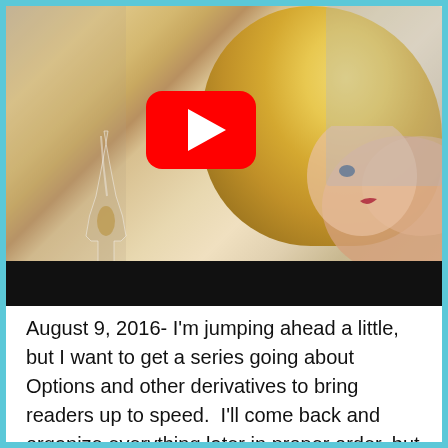[Figure (screenshot): A YouTube video thumbnail showing a blonde woman holding a wine glass, with a red YouTube play button overlay in the center. The bottom portion of the video shows a black bar.]
August 9, 2016- I'm jumping ahead a little, but I want to get a series going about Options and other derivatives to bring readers up to speed.  I'll come back and organize everything later in proper order, but